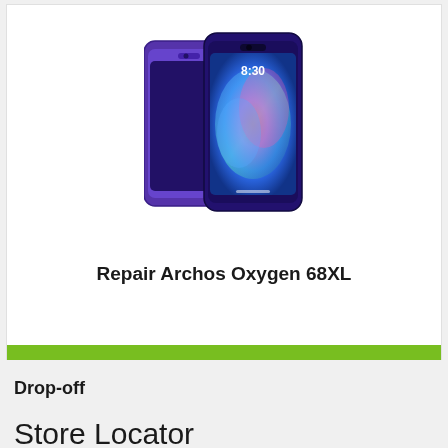[Figure (photo): Two Archos Oxygen 68XL smartphones shown side by side, one in purple and one with a colorful abstract display screen active, both with a nearly bezel-less design.]
Repair Archos Oxygen 68XL
Get My Repair Estimate
Drop-off
Store Locator